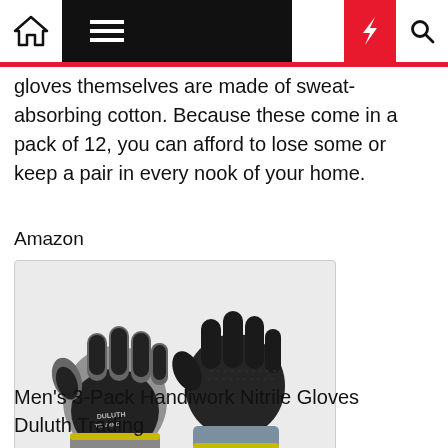Navigation bar with home, menu, moon, lightning, and search icons
gloves themselves are made of sweat-absorbing cotton. Because these come in a pack of 12, you can afford to lose some or keep a pair in every nook of your home.
Amazon
[Figure (photo): Product photo of two work gloves (Men's 3-Pack Handiwork Nitrile Gloves by Duluth Trading) — one glove shown palm-side with grey/black nitrile coating and Duluth Trading logo, one shown from the back in all black, both with yellow trim at the cuff, on a light grey background.]
Men's 3-Pack Handiwork Nitrile Gloves
Duluth Trading